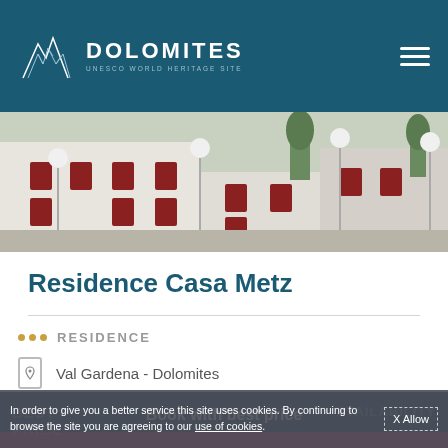DOLOMITES UNESCO WORLD HERITAGE SITE
[Figure (photo): Exterior photo of Residence Casa Metz showing white building facades with red shutters and globe street lamps in a mountain setting]
Residence Casa Metz
... RESIDENCE
Val Gardena - Dolomites
+39 0545288803
Book with best price
In order to give you a better service this site uses cookies. By continuing to browse the site you are agreeing to our use of cookies.   X Allow